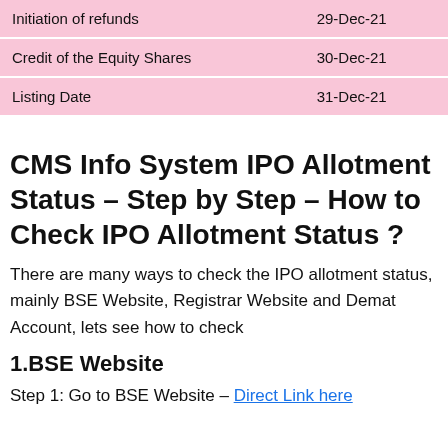|  |  |
| --- | --- |
| Initiation of refunds | 29-Dec-21 |
| Credit of the Equity Shares | 30-Dec-21 |
| Listing Date | 31-Dec-21 |
CMS Info System IPO Allotment Status – Step by Step – How to Check IPO Allotment Status ?
There are many ways to check the IPO allotment status, mainly BSE Website, Registrar Website and Demat Account, lets see how to check
1.BSE Website
Step 1: Go to BSE Website – Direct Link here